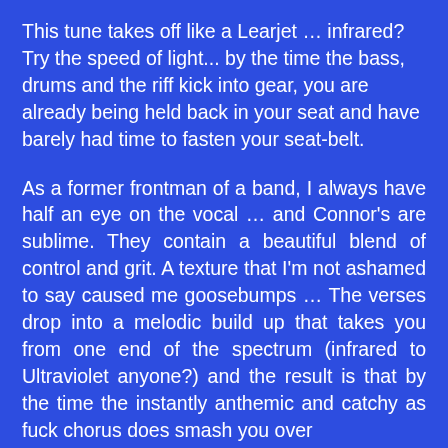This tune takes off like a Learjet … infrared? Try the speed of light... by the time the bass, drums and the riff kick into gear, you are already being held back in your seat and have barely had time to fasten your seat-belt.
As a former frontman of a band, I always have half an eye on the vocal … and Connor's are sublime. They contain a beautiful blend of control and grit. A texture that I'm not ashamed to say caused me goosebumps … The verses drop into a melodic build up that takes you from one end of the spectrum (infrared to Ultraviolet anyone?) and the result is that by the time the instantly anthemic and catchy as fuck chorus does smash you over